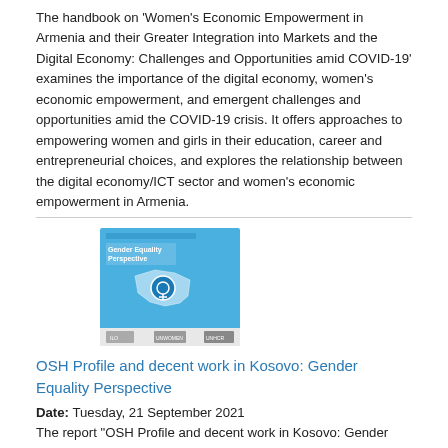The handbook on 'Women's Economic Empowerment in Armenia and their Greater Integration into Markets and the Digital Economy: Challenges and Opportunities amid COVID-19' examines the importance of the digital economy, women's economic empowerment, and emergent challenges and opportunities amid the COVID-19 crisis. It offers approaches to empowering women and girls in their education, career and entrepreneurial choices, and explores the relationship between the digital economy/ICT sector and women's economic empowerment in Armenia.
[Figure (illustration): Book cover image for 'OSH Profile and decent work in Kosovo: Gender Equality Perspective' showing a blue cover with a map of Kosovo and gender equality symbol, with logos at the bottom.]
OSH Profile and decent work in Kosovo: Gender Equality Perspective
Date: Tuesday, 21 September 2021
The report "OSH Profile and decent work in Kosovo: Gender Equality Perspective", is designed to match the OSH profile key components and serves to the purpose of highlighting gender mainstreaming